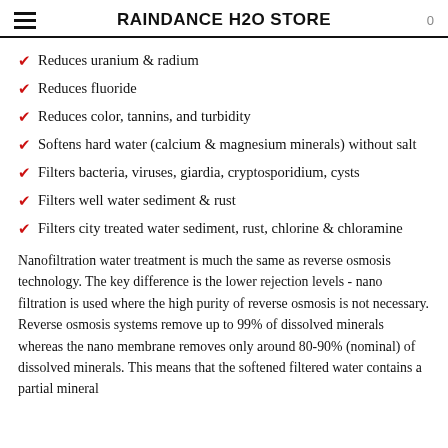RAINDANCE H2O STORE
Reduces uranium & radium
Reduces fluoride
Reduces color, tannins, and turbidity
Softens hard water (calcium & magnesium minerals) without salt
Filters bacteria, viruses, giardia, cryptosporidium, cysts
Filters well water sediment & rust
Filters city treated water sediment, rust, chlorine & chloramine
Nanofiltration water treatment is much the same as reverse osmosis technology. The key difference is the lower rejection levels - nano filtration is used where the high purity of reverse osmosis is not necessary. Reverse osmosis systems remove up to 99% of dissolved minerals whereas the nano membrane removes only around 80-90% (nominal) of dissolved minerals. This means that the softened filtered water contains a partial mineral